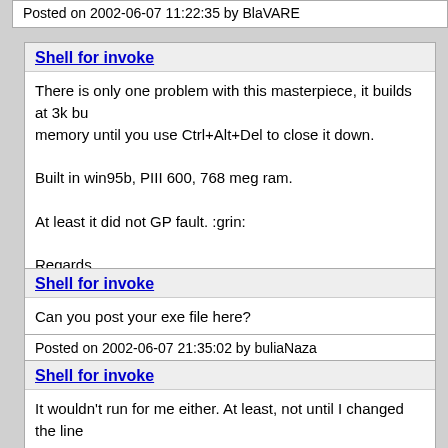Posted on 2002-06-07 11:22:35 by BlaVARE
Shell for invoke
There is only one problem with this masterpiece, it builds at 3k bu memory until you use Ctrl+Alt+Del to close it down.

Built in win95b, PIII 600, 768 meg ram.

At least it did not GP fault. :grin:

Regards,

hutch@movsd.com
Posted on 2002-06-07 21:01:30 by hutch--
Shell for invoke
Can you post your exe file here?
Posted on 2002-06-07 21:35:02 by buliaNaza
Shell for invoke
It wouldn't run for me either. At least, not until I changed the line

xor esi,0FFFF0000h